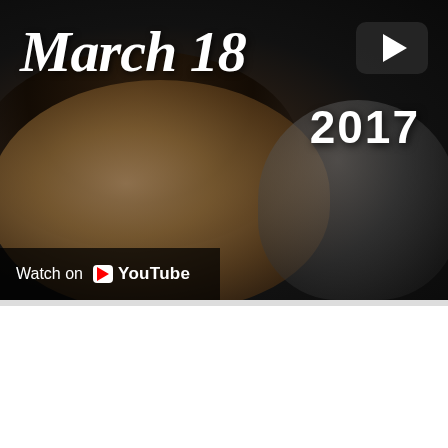[Figure (screenshot): YouTube video thumbnail showing two people with text 'March 18' in italic script and '2017' overlaid, with a YouTube play button and 'Watch on YouTube' overlay bar at the bottom left.]
Last compilation video of Peru 2017
[Figure (screenshot): Second YouTube video preview showing a blue/purple background with a child's face partially visible. A channel avatar circle with letter S and the title 'Last compilation video of Peru 2017' appear in a dark top bar.]
POWERED BY weebly